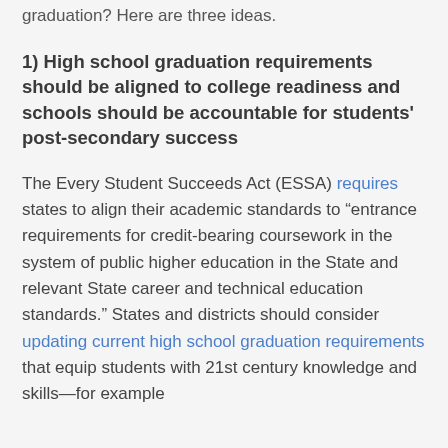graduation? Here are three ideas.
1) High school graduation requirements should be aligned to college readiness and schools should be accountable for students' post-secondary success
The Every Student Succeeds Act (ESSA) requires states to align their academic standards to “entrance requirements for credit-bearing coursework in the system of public higher education in the State and relevant State career and technical education standards.” States and districts should consider updating current high school graduation requirements that equip students with 21st century knowledge and skills—for example